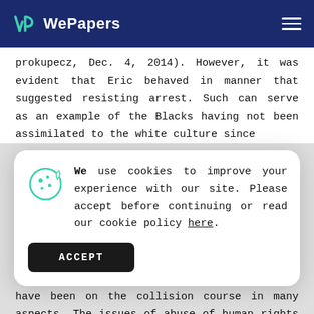WePapers
prokupecz, Dec. 4, 2014). However, it was evident that Eric behaved in manner that suggested resisting arrest. Such can serve as an example of the Blacks having not been assimilated to the white culture since
We use cookies to improve your experience with our site. Please accept before continuing or read our cookie policy here.
of the whites.
In conclusion, the Blacks and the Whites have been on the collision course in many aspects. The issues of abuse of human rights when it comes to the Blacks are